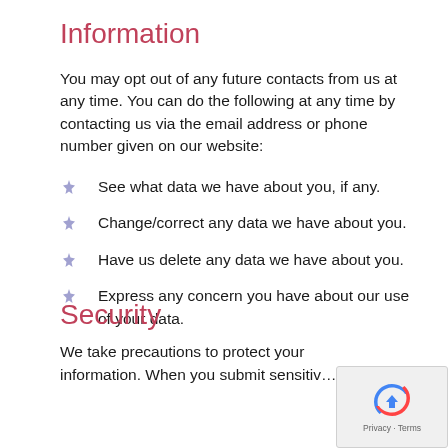Information
You may opt out of any future contacts from us at any time. You can do the following at any time by contacting us via the email address or phone number given on our website:
See what data we have about you, if any.
Change/correct any data we have about you.
Have us delete any data we have about you.
Express any concern you have about our use of your data.
Security
We take precautions to protect your information. When you submit sensitiv…